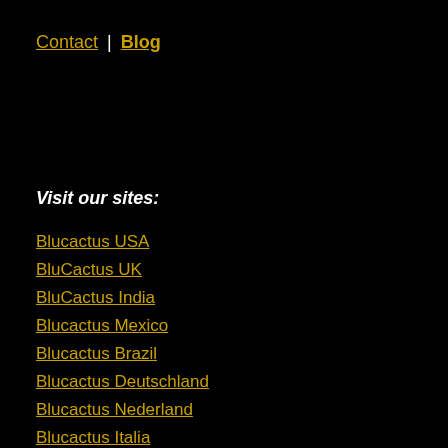Contact | Blog
Visit our sites:
Blucactus USA
BluCactus UK
BluCactus India
Blucactus Mexico
Blucactus Brazil
Blucactus Deutschland
Blucactus Nederland
Blucactus Italia
Blucactus España